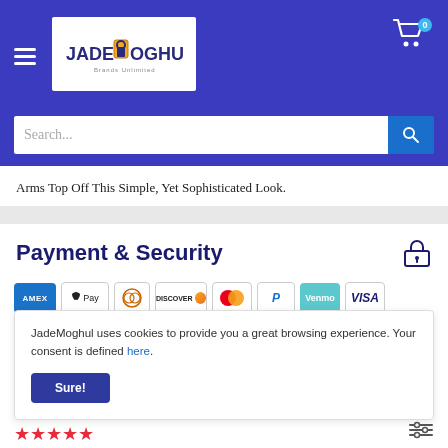[Figure (screenshot): JadeMoghul website header with hamburger menu, logo, and shopping cart icon with badge showing 0]
[Figure (screenshot): Search bar with placeholder text 'Search...' and blue search button]
Arms Top Off This Simple, Yet Sophisticated Look.
Payment & Security
[Figure (infographic): Payment method icons: American Express, Apple Pay, Diners Club, Discover, Mastercard, PayPal, Venmo, Visa]
JadeMoghul uses cookies to provide you a great browsing experience. Your consent is defined here.